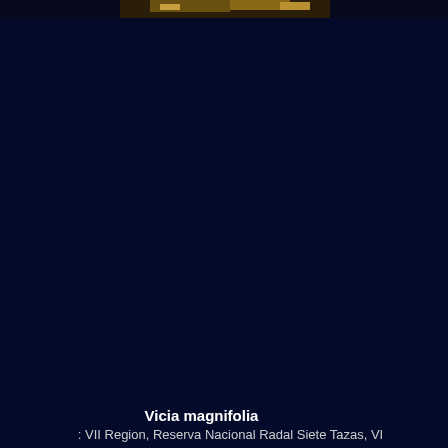[Figure (photo): Partial photograph of a plant specimen (Vicia magnifolia) appearing at the very top of the page, mostly obscured. The rest of the page is a very dark navy blue background.]
Vicia magnifolia   
  : VII Region, Reserva Nacional Radal Siete Tazas, VI